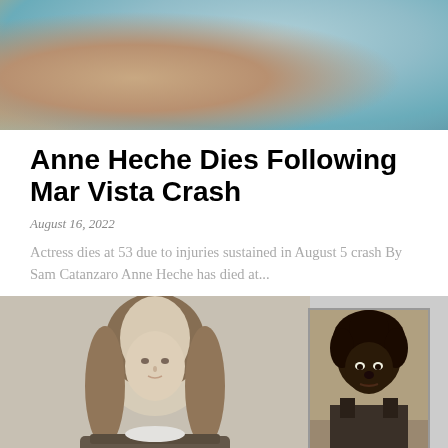[Figure (photo): Top portion of a photo showing a woman with blonde hair wearing a light blue/teal top, with another person partially visible beside her]
Anne Heche Dies Following Mar Vista Crash
August 16, 2022
Actress dies at 53 due to injuries sustained in August 5 crash By Sam Catanzaro Anne Heche has died at...
[Figure (photo): Left: photo of a woman with long brown hair wearing a dark lace top against a gray background. Right inset: mug shot photo of Anthony Barrett with caption 'Anthony Barrett (Courtesy SMPD)']